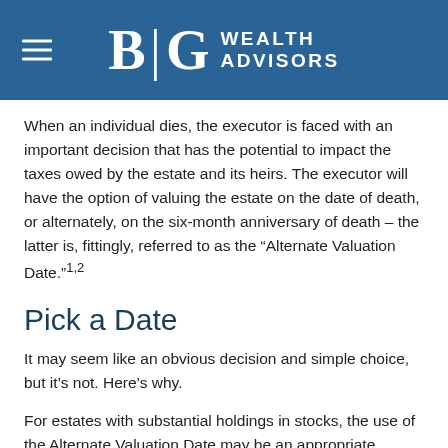BG WEALTH ADVISORS
When an individual dies, the executor is faced with an important decision that has the potential to impact the taxes owed by the estate and its heirs. The executor will have the option of valuing the estate on the date of death, or alternately, on the six-month anniversary of death – the latter is, fittingly, referred to as the “Alternate Valuation Date.”1,2
Pick a Date
It may seem like an obvious decision and simple choice, but it’s not. Here’s why.
For estates with substantial holdings in stocks, the use of the Alternate Valuation Date may be an appropriate approach if the executor believes stock prices will be lower